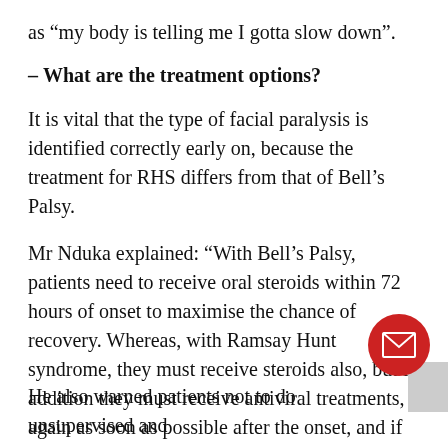as “my body is telling me I gotta slow down”.
– What are the treatment options?
It is vital that the type of facial paralysis is identified correctly early on, because the treatment for RHS differs from that of Bell’s Palsy.
Mr Nduka explained: “With Bell’s Palsy, patients need to receive oral steroids within 72 hours of onset to maximise the chance of recovery. Whereas, with Ramsay Hunt syndrome, they must receive steroids also, but in addition they must receive antiviral treatments, again as soon as possible after the onset, and if they don’t receive those then their rate of recovery drops from about 70% down to 50%.”
He also warned patients not to do unsupervised and